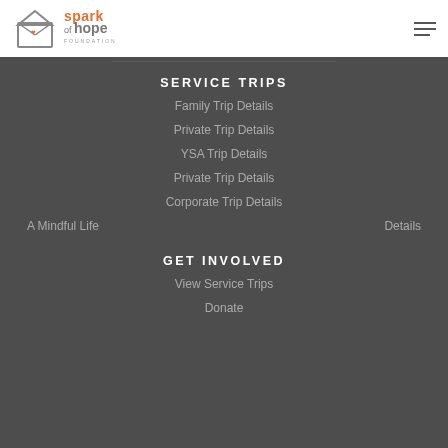[Figure (logo): Spark of Hope Foundation logo with house/envelope icon in gray and orange text]
SERVICE TRIPS
Family Trip Details
Private Trip Details
YSA Trip Details
Private Trip Details
Corporate Trip Details
A Mindful Life  Details
GET INVOLVED
View Service Trips
Donate